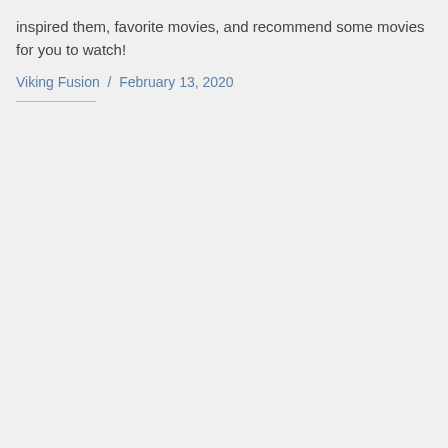inspired them, favorite movies, and recommend some movies for you to watch!
Viking Fusion / February 13, 2020